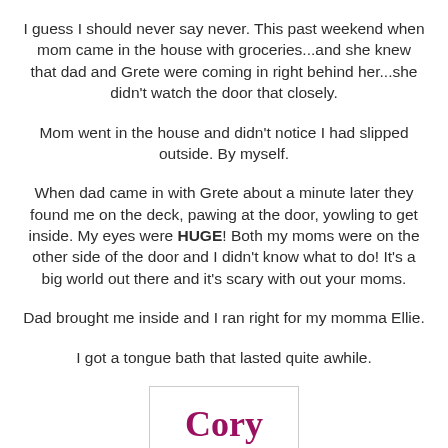I guess I should never say never.  This past weekend when mom came in the house with groceries...and she knew that dad and Grete were coming in right behind her...she didn't watch the door that closely.
Mom went in the house and didn't notice I had slipped outside.  By myself.
When dad came in with Grete about a minute later they found me on the deck, pawing at the door, yowling to get inside.  My eyes were HUGE!  Both my moms were on the other side of the door and I didn't know what to do!  It's a big world out there and it's scary with out your moms.
Dad brought me inside and I ran right for my momma Ellie.
I got a tongue bath that lasted quite awhile.
[Figure (illustration): Handwritten-style signature reading 'Cory' in dark magenta/maroon cursive font inside a light-bordered box]